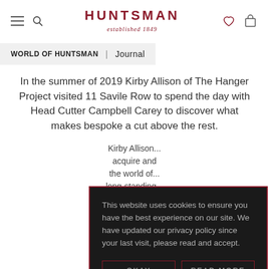HUNTSMAN established 1849
WORLD OF HUNTSMAN | Journal
In the summer of 2019 Kirby Allison of The Hanger Project visited 11 Savile Row to spend the day with Head Cutter Campbell Carey to discover what makes bespoke a cut above the rest.
Kirby Alliso... acquire and... the world o... long-standin... akin to ou... quality a...
This website uses cookies to ensure you have the best experience on our site. We have updated our privacy policy since your last visit, please read and accept.